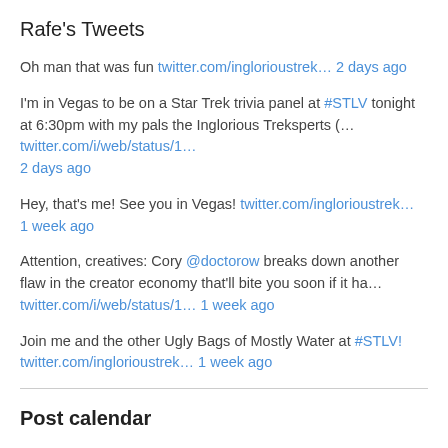Rafe's Tweets
Oh man that was fun twitter.com/inglorioustrek… 2 days ago
I'm in Vegas to be on a Star Trek trivia panel at #STLV tonight at 6:30pm with my pals the Inglorious Treksperts (… twitter.com/i/web/status/1… 2 days ago
Hey, that's me! See you in Vegas! twitter.com/inglorioustrek… 1 week ago
Attention, creatives: Cory @doctorow breaks down another flaw in the creator economy that'll bite you soon if it ha… twitter.com/i/web/status/1… 1 week ago
Join me and the other Ugly Bags of Mostly Water at #STLV! twitter.com/inglorioustrek… 1 week ago
Post calendar